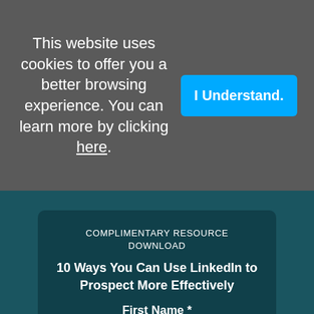This website uses cookies to offer you a better browsing experience. You can learn more by clicking here.
I Understand.
COMPLIMENTARY RESOURCE DOWNLOAD
10 Ways You Can Use LinkedIn to Prospect More Effectively
First Name *
First Name